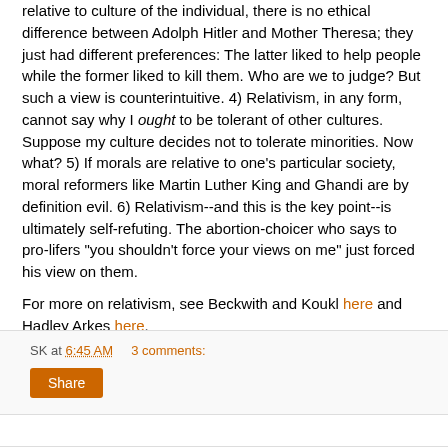relative to culture of the individual, there is no ethical difference between Adolph Hitler and Mother Theresa; they just had different preferences: The latter liked to help people while the former liked to kill them. Who are we to judge? But such a view is counterintuitive. 4) Relativism, in any form, cannot say why I ought to be tolerant of other cultures. Suppose my culture decides not to tolerate minorities. Now what? 5) If morals are relative to one's particular society, moral reformers like Martin Luther King and Ghandi are by definition evil. 6) Relativism--and this is the key point--is ultimately self-refuting. The abortion-choicer who says to pro-lifers "you shouldn't force your views on me" just forced his view on them.
For more on relativism, see Beckwith and Koukl here and Hadley Arkes here.
SK at 6:45 AM    3 comments: